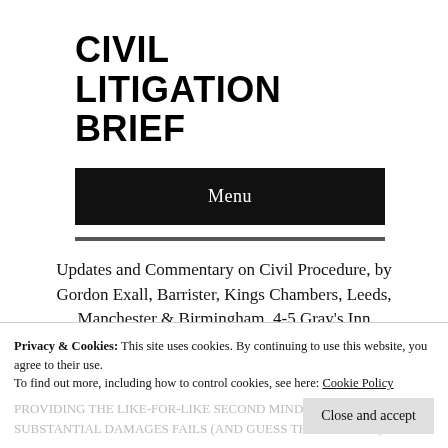CIVIL LITIGATION BRIEF
Menu
Updates and Commentary on Civil Procedure, by Gordon Exall, Barrister, Kings Chambers, Leeds, Manchester & Birmingham. 4-5 Gray's Inn Square, London.
Privacy & Cookies: This site uses cookies. By continuing to use this website, you agree to their use. To find out more, including how to control cookies, see here: Cookie Policy